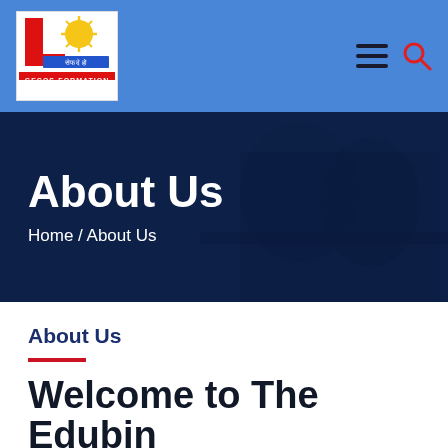[Figure (logo): GECOS-FORMATION logo: white box with red L-shape, golden sun illustration, and red label bar saying GECOS-FORMATION]
[Figure (illustration): Hamburger menu icon (three dark horizontal bars) and red search magnifying glass icon in the top navigation bar]
[Figure (photo): Dark blue hero banner with background photo of people studying, overlaid with semi-transparent dark blue layer]
About Us
Home  /  About Us
About Us
Welcome to The Edubin